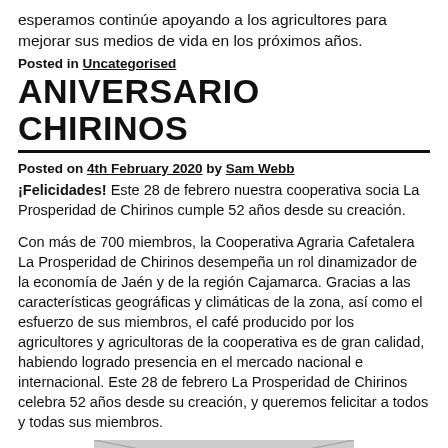esperamos continúe apoyando a los agricultores para mejorar sus medios de vida en los próximos años.
Posted in Uncategorised
ANIVERSARIO CHIRINOS
Posted on 4th February 2020 by Sam Webb
¡Felicidades! Este 28 de febrero nuestra cooperativa socia La Prosperidad de Chirinos cumple 52 años desde su creación.
Con más de 700 miembros, la Cooperativa Agraria Cafetalera La Prosperidad de Chirinos desempeña un rol dinamizador de la economía de Jaén y de la región Cajamarca. Gracias a las características geográficas y climáticas de la zona, así como el esfuerzo de sus miembros, el café producido por los agricultores y agricultoras de la cooperativa es de gran calidad, habiendo logrado presencia en el mercado nacional e internacional. Este 28 de febrero La Prosperidad de Chirinos celebra 52 años desde su creación, y queremos felicitar a todos y todas sus miembros.
[Figure (photo): Partial image visible at bottom of page, appears to be a photo related to Chirinos cooperative]